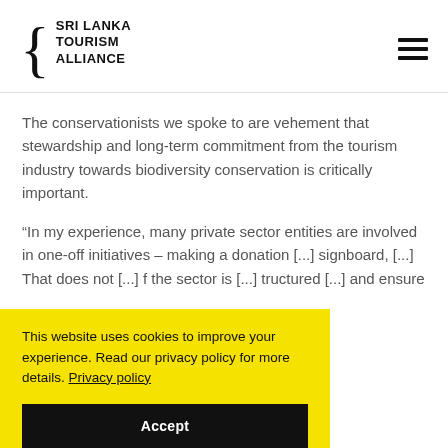SRI LANKA TOURISM ALLIANCE
The conservationists we spoke to are vehement that stewardship and long-term commitment from the tourism industry towards biodiversity conservation is critically important.
“In my experience, many private sector entities are involved in one-off initiatives – making a donation [...]signboard, [...] That does not [...] f the sector is [...] tructured [...] and ensure
This website uses cookies to improve your experience. Read our privacy policy for more details. Privacy policy
Accept